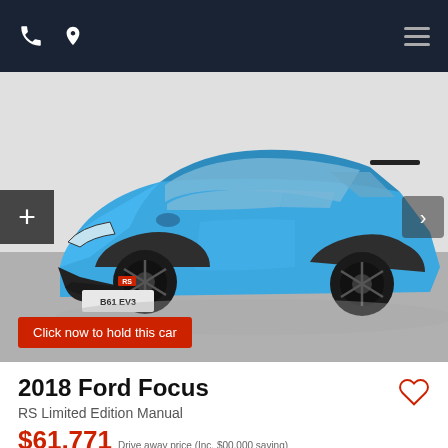Navigation bar with phone icon, location icon, and hamburger menu
[Figure (photo): Blue 2018 Ford Focus RS Limited Edition hatchback photographed in a studio on a grey floor, front three-quarter view showing black alloy wheels and RS badge. Registration plate reads B61 EV3.]
Click now to hold this car
2018 Ford Focus
RS Limited Edition Manual
$61,771